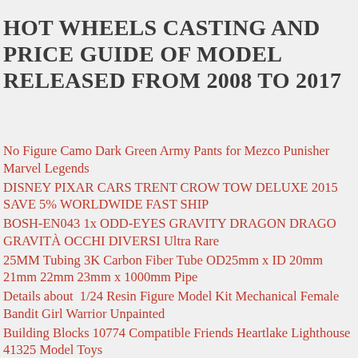HOT WHEELS CASTING AND PRICE GUIDE OF MODEL RELEASED FROM 2008 TO 2017
No Figure Camo Dark Green Army Pants for Mezco Punisher Marvel Legends
DISNEY PIXAR CARS TRENT CROW TOW DELUXE 2015 SAVE 5% WORLDWIDE FAST SHIP
BOSH-EN043 1x ODD-EYES GRAVITY DRAGON DRAGO GRAVITÀ OCCHI DIVERSI Ultra Rare
25MM Tubing 3K Carbon Fiber Tube OD25mm x ID 20mm 21mm 22mm 23mm x 1000mm Pipe
Details about  1/24 Resin Figure Model Kit Mechanical Female Bandit Girl Warrior Unpainted
Building Blocks 10774 Compatible Friends Heartlake Lighthouse 41325 Model Toys
HO GAUGE 1961 EK UTE WEDGWOOD BLUE DIECAST IN